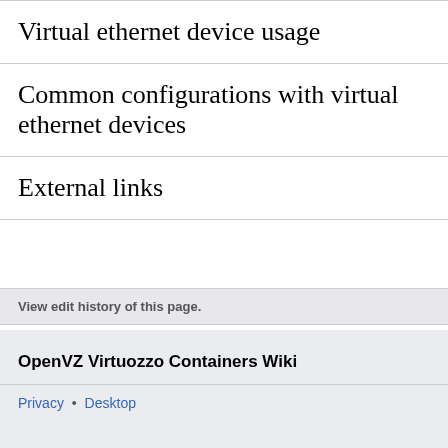Virtual ethernet device usage
Common configurations with virtual ethernet devices
External links
View edit history of this page.
OpenVZ Virtuozzo Containers Wiki
Privacy • Desktop